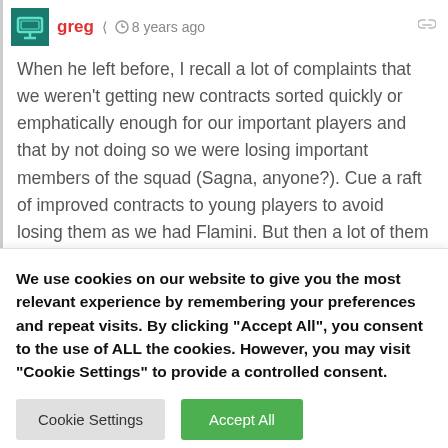greg · share · 8 years ago
When he left before, I recall a lot of complaints that we weren't getting new contracts sorted quickly or emphatically enough for our important players and that by not doing so we were losing important members of the squad (Sagna, anyone?). Cue a raft of improved contracts to young players to avoid losing them as we had Flamini. But then a lot of them never fulfilled the promise they had, and in some instances we're, even now, still playing the
We use cookies on our website to give you the most relevant experience by remembering your preferences and repeat visits. By clicking "Accept All", you consent to the use of ALL the cookies. However, you may visit "Cookie Settings" to provide a controlled consent.